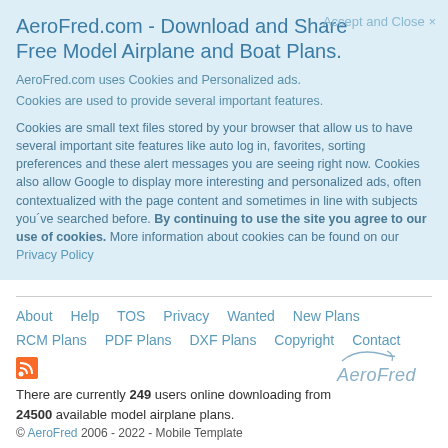AeroFred.com - Download and Share Free Model Airplane and Boat Plans.
Accept and Close ×
AeroFred.com uses Cookies and Personalized ads.
Cookies are used to provide several important features.
Cookies are small text files stored by your browser that allow us to have several important site features like auto log in, favorites, sorting preferences and these alert messages you are seeing right now. Cookies also allow Google to display more interesting and personalized ads, often contextualized with the page content and sometimes in line with subjects you´ve searched before. By continuing to use the site you agree to our use of cookies. More information about cookies can be found on our Privacy Policy
About  Help  TOS  Privacy  Wanted  New Plans  RCM Plans  PDF Plans  DXF Plans  Copyright  Contact
There are currently 249 users online downloading from 24500 available model airplane plans.
© AeroFred 2006 - 2022 - Mobile Template